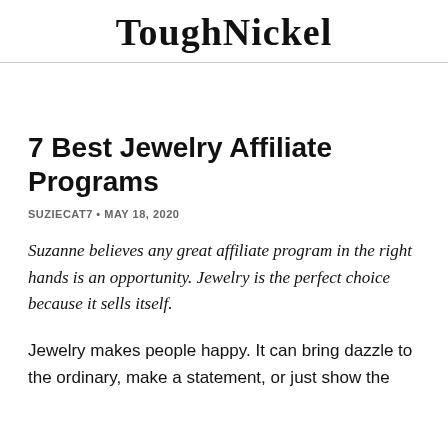ToughNickel
7 Best Jewelry Affiliate Programs
SUZIECAT7 • MAY 18, 2020
Suzanne believes any great affiliate program in the right hands is an opportunity. Jewelry is the perfect choice because it sells itself.
Jewelry makes people happy. It can bring dazzle to the ordinary, make a statement, or just show the